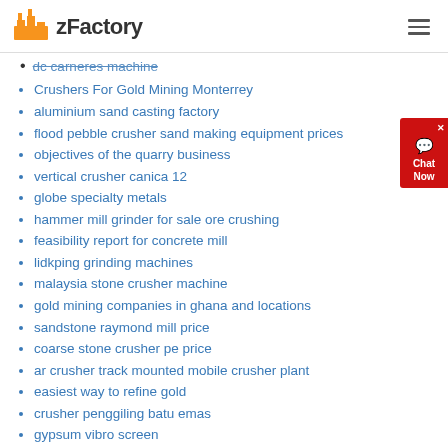zFactory
dc carneres machine
Crushers For Gold Mining Monterrey
aluminium sand casting factory
flood pebble crusher sand making equipment prices
objectives of the quarry business
vertical crusher canica 12
globe specialty metals
hammer mill grinder for sale ore crushing
feasibility report for concrete mill
lidkping grinding machines
malaysia stone crusher machine
gold mining companies in ghana and locations
sandstone raymond mill price
coarse stone crusher pe price
ar crusher track mounted mobile crusher plant
easiest way to refine gold
crusher penggiling batu emas
gypsum vibro screen